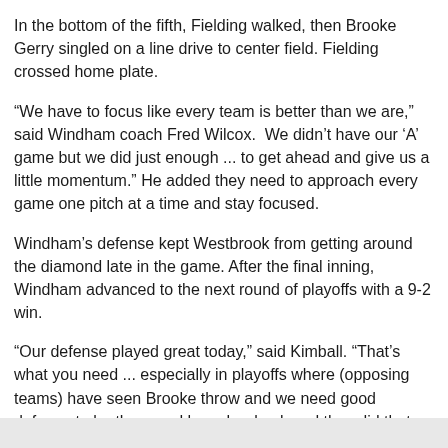In the bottom of the fifth, Fielding walked, then Brooke Gerry singled on a line drive to center field. Fielding crossed home plate.
“We have to focus like every team is better than we are,” said Windham coach Fred Wilcox.  We didn’t have our ‘A’ game but we did just enough ... to get ahead and give us a little momentum.” He added they need to approach every game one pitch at a time and stay focused.
Windham’s defense kept Westbrook from getting around the diamond late in the game. After the final inning, Windham advanced to the next round of playoffs with a 9-2 win.
“Our defense played great today,” said Kimball. “That’s what you need ... especially in playoffs where (opposing teams) have seen Brooke throw and we need good defense to be there and have her back and they did that. That was awesome.” <